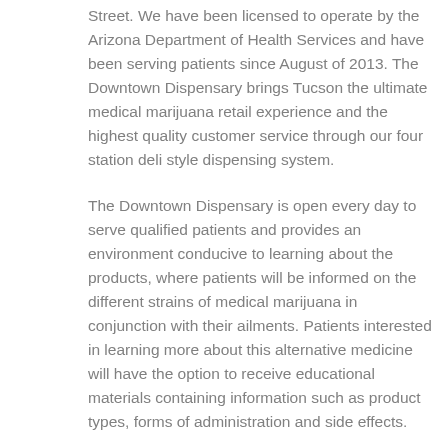Street. We have been licensed to operate by the Arizona Department of Health Services and have been serving patients since August of 2013. The Downtown Dispensary brings Tucson the ultimate medical marijuana retail experience and the highest quality customer service through our four station deli style dispensing system.
The Downtown Dispensary is open every day to serve qualified patients and provides an environment conducive to learning about the products, where patients will be informed on the different strains of medical marijuana in conjunction with their ailments. Patients interested in learning more about this alternative medicine will have the option to receive educational materials containing information such as product types, forms of administration and side effects.
The Downtown Dispensary is an integral part of the Tucson community, providing safe and affordable access to exceptionally high-quality medicine. The dispensary has digital menus to showcase strain-specific information and simplify the selection